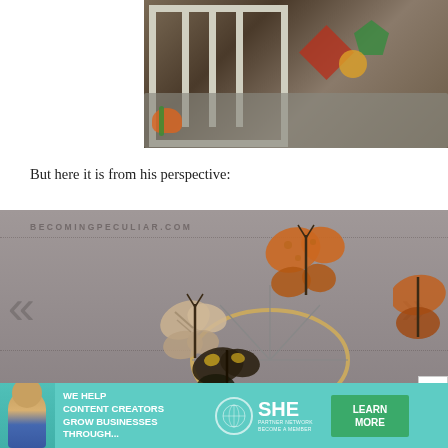[Figure (photo): Top-down view of a baby crib with white rails and colorful toys/rattles on a mattress]
But here it is from his perspective:
[Figure (photo): Butterfly mobile hanging from a wooden embroidery hoop, photographed from below against a gray ceiling, with watermark BECOMINGPECULIAR.COM. Navigation arrows on left and right sides.]
[Figure (photo): Advertisement banner: WE HELP CONTENT CREATORS GROW BUSINESSES THROUGH... SHE PARTNER NETWORK BECOME A MEMBER, with LEARN MORE button]